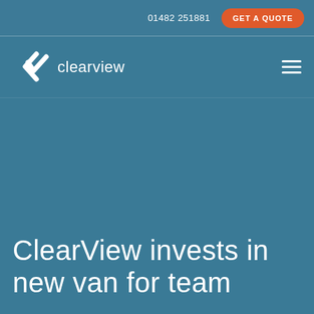01482 251881   GET A QUOTE
[Figure (logo): ClearView company logo: white chevron/check mark icon followed by the word 'clearview' in white lowercase sans-serif font on teal background]
ClearView invests in new van for team